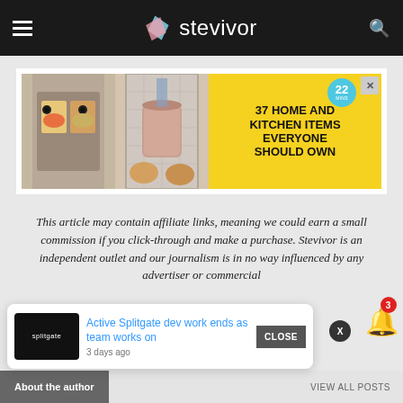stevivor
[Figure (screenshot): Advertisement banner with yellow background showing kitchen items. Text reads: 37 HOME AND KITCHEN ITEMS EVERYONE SHOULD OWN. Has a teal badge with 22 and a close X button.]
This article may contain affiliate links, meaning we could earn a small commission if you click-through and make a purchase. Stevivor is an independent outlet and our journalism is in no way influenced by any advertiser or commercial
[Figure (screenshot): Notification popup showing Splitgate thumbnail with text: Active Splitgate dev work ends as team works on - 3 days ago. With a CLOSE button.]
About the author
VIEW ALL POSTS